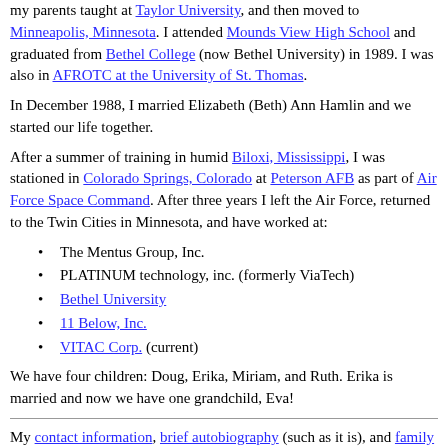my parents taught at Taylor University, and then moved to Minneapolis, Minnesota. I attended Mounds View High School and graduated from Bethel College (now Bethel University) in 1989. I was also in AFROTC at the University of St. Thomas.
In December 1988, I married Elizabeth (Beth) Ann Hamlin and we started our life together.
After a summer of training in humid Biloxi, Mississippi, I was stationed in Colorado Springs, Colorado at Peterson AFB as part of Air Force Space Command. After three years I left the Air Force, returned to the Twin Cities in Minnesota, and have worked at:
The Mentus Group, Inc.
PLATINUM technology, inc. (formerly ViaTech)
Bethel University
11 Below, Inc.
VITAC Corp. (current)
We have four children: Doug, Erika, Miriam, and Ruth. Erika is married and now we have one grandchild, Eva!
My contact information, brief autobiography (such as it is), and family tree.